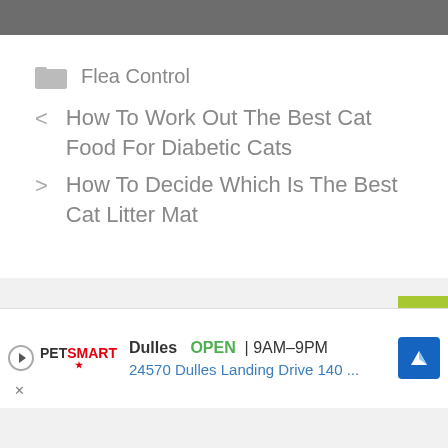[Figure (other): Gray banner bar at top of page]
Flea Control
< How To Work Out The Best Cat Food For Diabetic Cats
> How To Decide Which Is The Best Cat Litter Mat
[Figure (other): Advertisement banner: PetSmart Dulles OPEN 9AM-9PM, 24570 Dulles Landing Drive 140 ...]